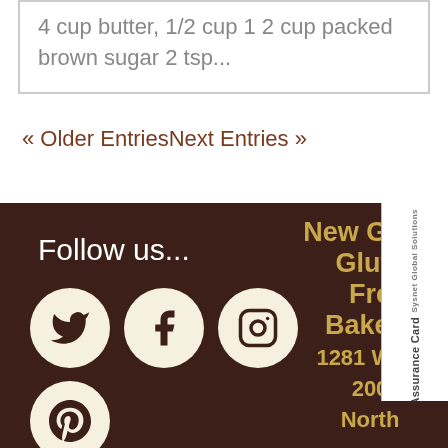4 cup butter, 1/2 cup 1 2 cup packed brown sugar 2 tsp...
« Older EntriesNext Entries »
Follow us... New Grain Gluten Free Bakery 1281 West 200 North